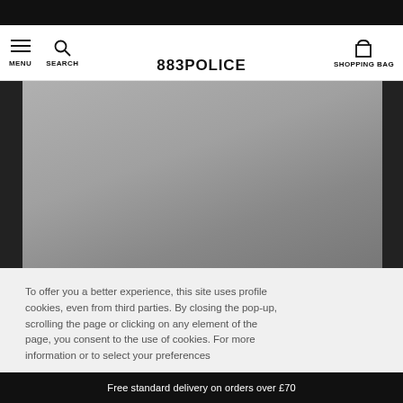883POLICE — MENU | SEARCH | SHOPPING BAG
[Figure (photo): Large hero/product image placeholder with grey gradient background, dark side strips]
To offer you a better experience, this site uses profile cookies, even from third parties. By closing the pop-up, scrolling the page or clicking on any element of the page, you consent to the use of cookies. For more information or to select your preferences
Free standard delivery on orders over £70